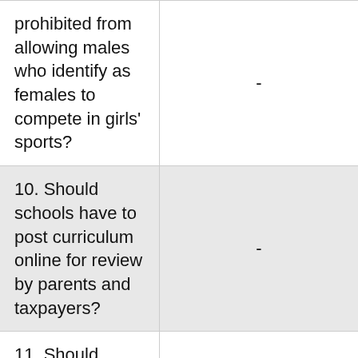prohibited from allowing males who identify as females to compete in girls' sports?
10. Should schools have to post curriculum online for review by parents and taxpayers?
11. Should